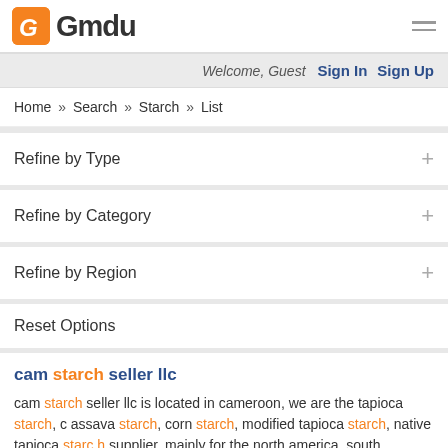Gmdu
Welcome, Guest   Sign In   Sign Up
Home » Search » Starch » List
Refine by Type
Refine by Category
Refine by Region
Reset Options
cam starch seller llc
cam starch seller llc is located in cameroon, we are the tapioca starch, cassava starch, corn starch, modified tapioca starch, native tapioca starch supplier, mainly for the north america, south america, eastern europe, oceania, western europe markets.